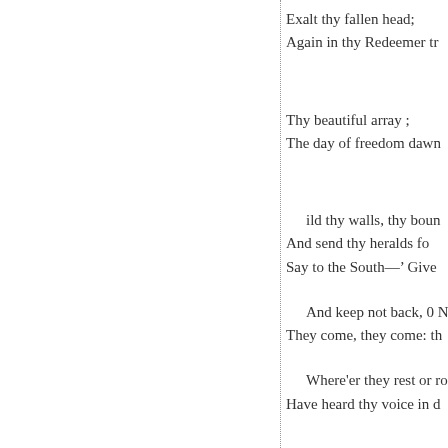Exalt thy fallen head;
Again in thy Redeemer tr
Thy beautiful array ;
The day of freedom dawn
ild thy walls, thy boun
And send thy heralds fo
Say to the South—' Give
And keep not back, 0 N
They come, they come: th
Where'er they rest or roa
Have heard thy voice in d
Thus, though the universe sh
And God His works des